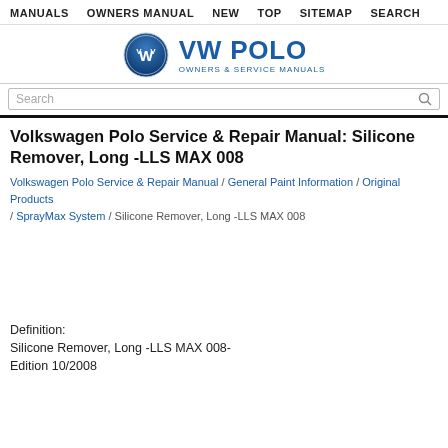MANUALS   OWNERS MANUAL   NEW   TOP   SITEMAP   SEARCH
[Figure (logo): VW Polo Owners & Service Manuals logo with VW circular emblem and blue text]
Search
Volkswagen Polo Service & Repair Manual: Silicone Remover, Long -LLS MAX 008
Volkswagen Polo Service & Repair Manual / General Paint Information / Original Products / SprayMax System / Silicone Remover, Long -LLS MAX 008
Definition:
Silicone Remover, Long -LLS MAX 008-
Edition 10/2008